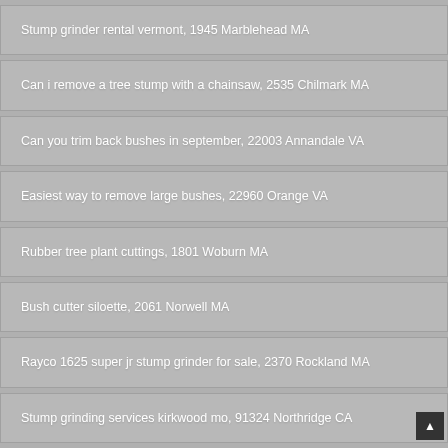Stump grinder rental vermont, 1945 Marblehead MA
Can i remove a tree stump with a chainsaw, 2535 Chilmark MA
Can you trim back bushes in september, 22003 Annandale VA
Easiest way to remove large bushes, 22960 Orange VA
Rubber tree plant cuttings, 1801 Woburn MA
Bush cutter siloette, 2061 Norwell MA
Rayco 1625 super jr stump grinder for sale, 2370 Rockland MA
Stump grinding services kirkwood mo, 91324 Northridge CA